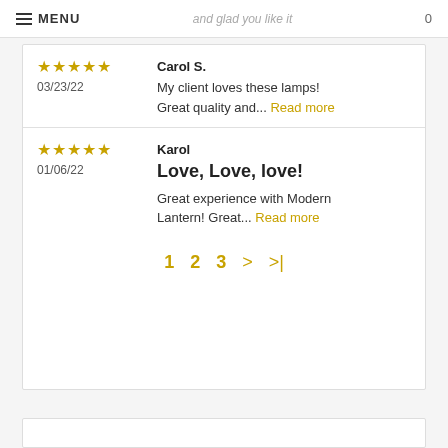MENU | and glad you like it | 🔍 🛒 0
★★★★★
03/23/22
Carol S.
My client loves these lamps! Great quality and... Read more
★★★★★
01/06/22
Karol
Love, Love, love!
Great experience with Modern Lantern! Great... Read more
1  2  3  >  >|